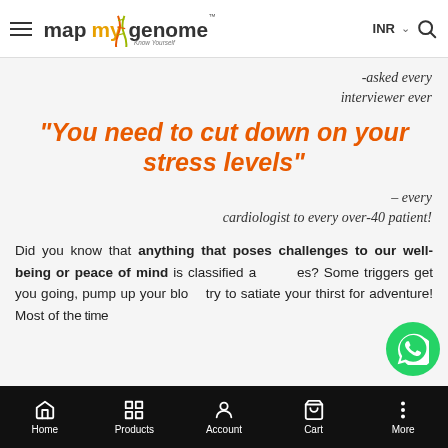mapmygenome Know Yourself | INR
-asked every interviewer ever
“You need to cut down on your stress levels”
- every cardiologist to every over-40 patient!
Did you know that anything that poses challenges to our well-being or peace of mind is classified as stress? Some triggers get you going, pump up your blood, try to satiate your thirst for adventure! Most of the time...
Home | Products | Account | Cart | More